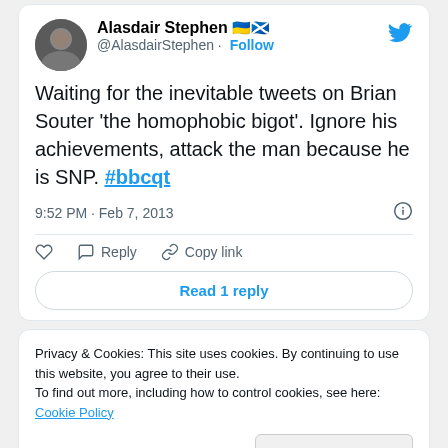[Figure (screenshot): Twitter/X profile avatar for Alasdair Stephen — circular cropped photo of a man]
Alasdair Stephen 🇺🇦🏴󠁧󠁢󠁳󠁣󠁴󠁿 @AlasdairStephen · Follow
Waiting for the inevitable tweets on Brian Souter 'the homophobic bigot'. Ignore his achievements, attack the man because he is SNP. #bbcqt
9:52 PM · Feb 7, 2013
♡  Reply  Copy link
Read 1 reply
Privacy & Cookies: This site uses cookies. By continuing to use this website, you agree to their use.
To find out more, including how to control cookies, see here: Cookie Policy
Close and accept
@jeffbres · Follow